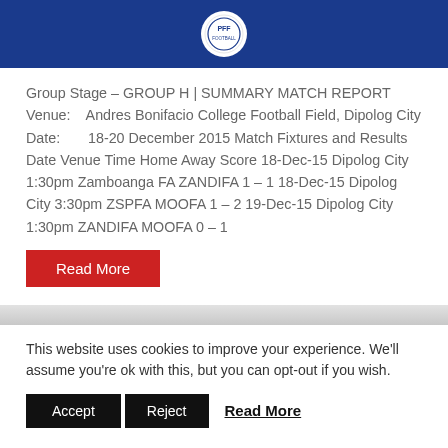[Figure (logo): Philippine Football Federation logo centered in a blue header bar]
Group Stage – GROUP H | SUMMARY MATCH REPORT Venue:    Andres Bonifacio College Football Field, Dipolog City Date:       18-20 December 2015 Match Fixtures and Results Date Venue Time Home Away Score 18-Dec-15 Dipolog City 1:30pm Zamboanga FA ZANDIFA 1 – 1 18-Dec-15 Dipolog City 3:30pm ZSPFA MOOFA 1 – 2 19-Dec-15 Dipolog City 1:30pm ZANDIFA MOOFA 0 – 1
Read More
This website uses cookies to improve your experience. We'll assume you're ok with this, but you can opt-out if you wish.
Accept  Reject  Read More